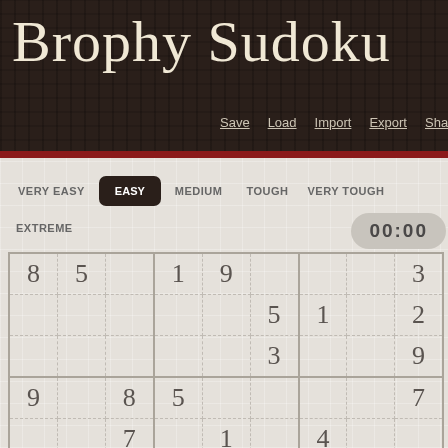Brophy Sudoku
Save  Load  Import  Export  Share
VERY EASY
EASY
MEDIUM
TOUGH
VERY TOUGH
EXTREME
00:00
| c1 | c2 | c3 | c4 | c5 | c6 | c7 | c8 | c9 |
| --- | --- | --- | --- | --- | --- | --- | --- | --- |
| 8 | 5 |  | 1 | 9 |  |  |  | 3 |
|  |  |  |  |  | 5 | 1 |  | 2 |
|  |  |  |  |  | 3 |  |  | 9 |
| 9 |  | 8 | 5 |  |  |  |  | 7 |
|  |  | 7 |  | 1 |  | 4 |  |  |
| 4 |  |  |  |  | 8 | 5 |  | 1 |